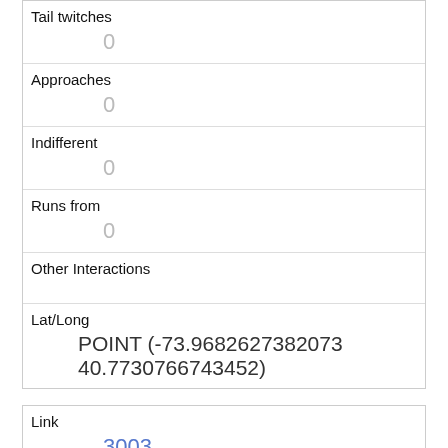| Tail twitches | 0 |
| Approaches | 0 |
| Indifferent | 0 |
| Runs from | 0 |
| Other Interactions |  |
| Lat/Long | POINT (-73.9682627382073 40.7730766743452) |
| Link | 3003 |
| rowid | 3003 |
| longitude | -73.96986639266571 |
| latitude | 40.773999710413 |